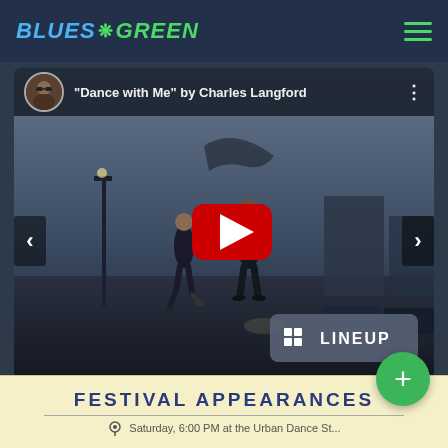Blues Green
[Figure (screenshot): YouTube-style embedded video player showing 'Dance with Me' by Charles Langford. Shows a scene of two people dancing outdoors at dusk in a parking lot. Red YouTube play button in center. Navigation arrows on left and right sides. LINEUP button in bottom right corner of video.]
FESTIVAL APPEARANCES